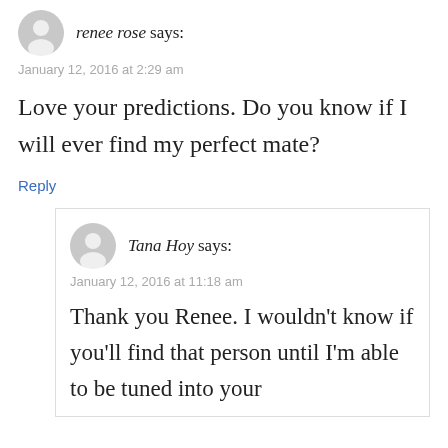renee rose says:
January 12, 2016 at 2:29 am
Love your predictions. Do you know if I will ever find my perfect mate?
Reply
Tana Hoy says:
January 12, 2016 at 11:18 am
Thank you Renee. I wouldn't know if you'll find that person until I'm able to be tuned into your